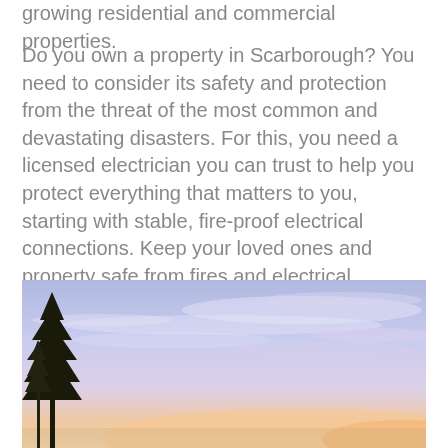growing residential and commercial properties.
Do you own a property in Scarborough? You need to consider its safety and protection from the threat of the most common and devastating disasters. For this, you need a licensed electrician you can trust to help you protect everything that matters to you, starting with stable, fire-proof electrical connections. Keep your loved ones and property safe from fires and electrical hazards with the help of a licensed electrician that's only one call away.
[Figure (photo): Landscape photo showing a dramatic sky with purple-blue and peach tones at dusk or dawn, with a dark evergreen tree silhouette on the left side.]